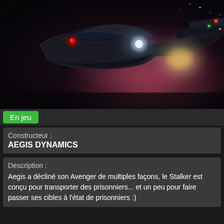[Figure (photo): Dark sci-fi spaceship (Aegis Avenger Stalker) flying in space with glowing red eye, bright headlights, and colorful engine glow against a dark nebula background]
En jeu
Constructeur :
AEGIS DYNAMICS
Description :
Aegis a décliné son Avenger de multiples façons, le Stalker est conçu pour transporter des prisonniers... et un peu pour faire passer ses cibles à l'état de prisonniers :)